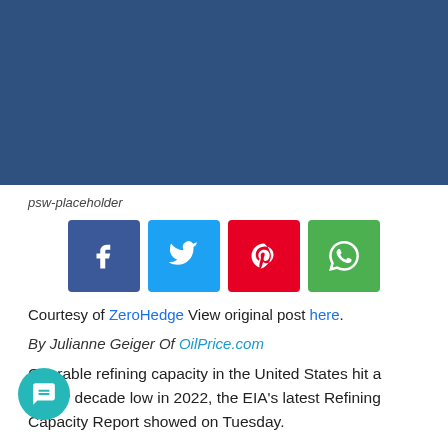[Figure (other): Dark blue header banner image placeholder]
psw-placeholder
[Figure (infographic): Social sharing buttons: Facebook (blue), Twitter (light blue), Pinterest (red), WhatsApp (green)]
Courtesy of ZeroHedge View original post here.
By Julianne Geiger Of OilPrice.com
Operable refining capacity in the United States hit a nearly decade low in 2022, the EIA's latest Refining Capacity Report showed on Tuesday.
U.S. refining capacity fell this year to 17.94 million barrels per